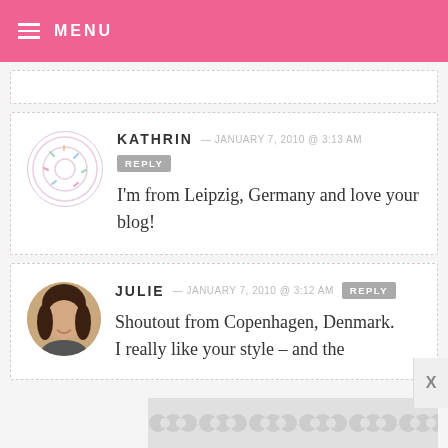MENU
KATHRIN — JANUARY 7, 2010 @ 3:13 AM   REPLY
I'm from Leipzig, Germany and love your blog!
JULIE — JANUARY 7, 2010 @ 3:12 AM   REPLY
Shoutout from Copenhagen, Denmark.
I really like your style – and the